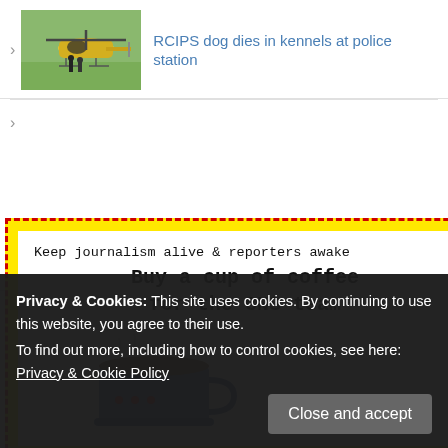[Figure (photo): Photo of a helicopter on a grass field with people standing near it, yellow and gray helicopter]
RCIPS dog dies in kennels at police station
[Figure (infographic): Yellow background popup advertisement with dashed red border, white inner card. Text: Keep journalism alive & reporters awake. Buy a cup of coffee for the CNS team. Illustration of a blue coffee cup with steam.]
toddler drowns on
Privacy & Cookies: This site uses cookies. By continuing to use this website, you agree to their use.
To find out more, including how to control cookies, see here: Privacy & Cookie Policy
Close and accept